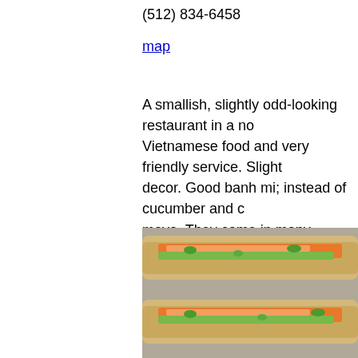(512) 834-6458
map
A smallish, slightly odd-looking restaurant in a no Vietnamese food and very friendly service. Slight decor. Good banh mi; instead of cucumber and c mayo. They come in many different types includin and vegetable tofu. Also very tasty spring rolls, n
Baguette House
10901 N. Lamar Blvd., Austin TX 78753
(512) 837-9100
map
[Figure (photo): Photo of banh mi sandwiches with vegetables and herbs on a stone surface]